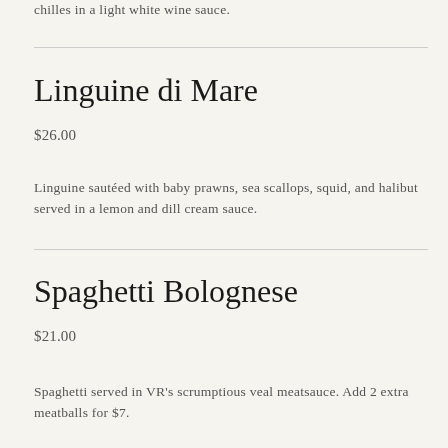chilles in a light white wine sauce.
Linguine di Mare
$26.00
Linguine sautéed with baby prawns, sea scallops, squid, and halibut served in a lemon and dill cream sauce.
Spaghetti Bolognese
$21.00
Spaghetti served in VR's scrumptious veal meatsauce. Add 2 extra meatballs for $7.